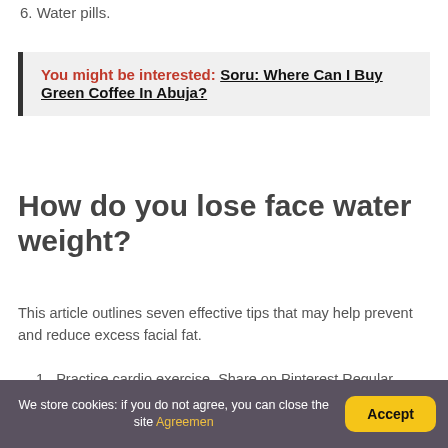6. Water pills.
You might be interested:  Soru: Where Can I Buy Green Coffee In Abuja?
How do you lose face water weight?
This article outlines seven effective tips that may help prevent and reduce excess facial fat.
1. Practice cardio exercise. Share on Pinterest Regular cardiovascular exercise may help reduce face fat.
We store cookies: if you do not agree, you can close the site Agreemen